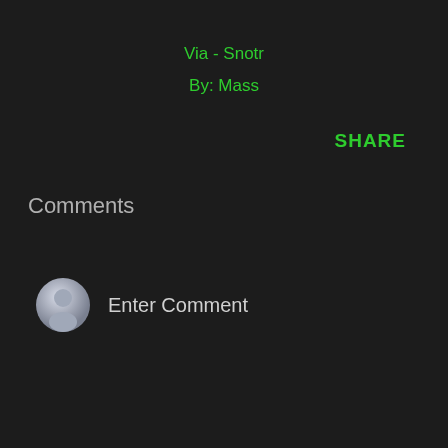Via - Snotr
By: Mass
SHARE
Comments
Enter Comment